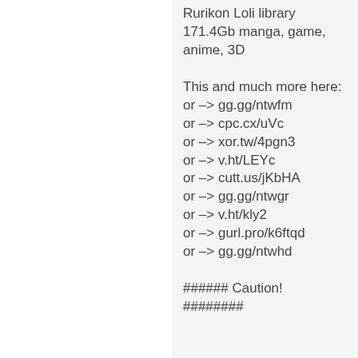Rurikon Loli library 171.4Gb manga, game, anime, 3D

This and much more here:
or –> gg.gg/ntwfm
or –> cpc.cx/uVc
or –> xor.tw/4pgn3
or –> v.ht/LEYc
or –> cutt.us/jKbHA
or –> gg.gg/ntwgr
or –> v.ht/kly2
or –> gurl.pro/k6ftqd
or –> gg.gg/ntwhd

###### Caution!
########